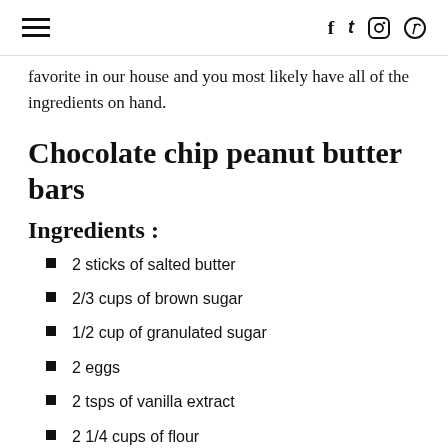☰  f  𝕥  ⊚  ⊕
favorite in our house and you most likely have all of the ingredients on hand.
Chocolate chip peanut butter bars
Ingredients :
2 sticks of salted butter
2/3 cups of brown sugar
1/2 cup of granulated sugar
2 eggs
2 tsps of vanilla extract
2 1/4 cups of flour
1 tsp of baking soda